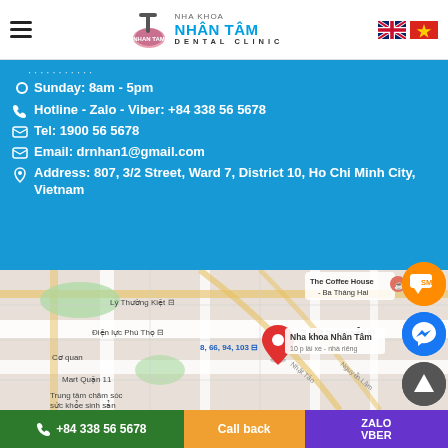Nha Khoa Nhân Tâm Dental Clinic
Sunday: 8am - 5pm
Hotline - Zalo - Viber: +84 338 56 5678
Tel: 1900 56 5678
Email: drnhan1@gmail.com
Address: 807, 3/2 Street, Ward 7, District 10, Ho Chi Minh City, Vietnam
[Figure (map): Google Maps showing location of Nha khoa Nhân Tâm at 807 3/2 Street, District 10, Ho Chi Minh City, Vietnam. Nearby landmarks: Lý Thường Kiệt, Điện lực Phú Thọ, Ngã ba Nguyễn Ki, The Coffee House Ba Tháng Hai, Mart Quận 11, Trung tâm chăm sóc sức khỏe sinh sản. Bus routes 8, 66, 94, 103.]
+84 338 56 5678 | Call back | ZALO VBER